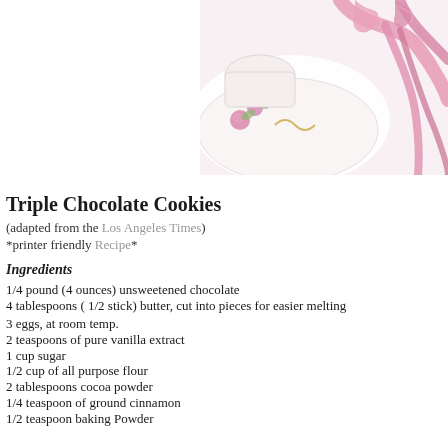[Figure (photo): Decorative photo of a floral teacup or saucer with a pink ribbon/bow, white background]
Triple Chocolate Cookies
(adapted from the Los Angeles Times)
*printer friendly Recipe*
Ingredients
1/4 pound (4 ounces) unsweetened chocolate
4 tablespoons ( 1/2 stick) butter, cut into pieces for easier melting
3 eggs, at room temp.
2 teaspoons of pure vanilla extract
1 cup sugar
1/2 cup of all purpose flour
2 tablespoons cocoa powder
1/4 teaspoon of ground cinnamon
1/2 teaspoon baking Powder